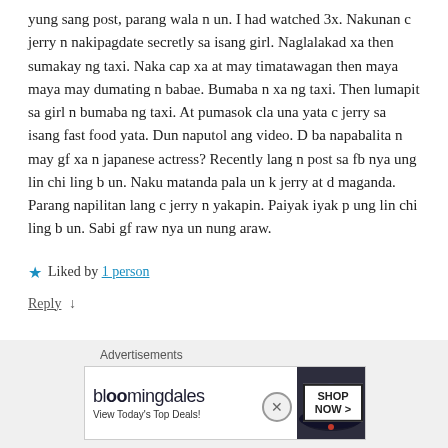yung sang post, parang wala n un. I had watched 3x. Nakunan c jerry n nakipagdate secretly sa isang girl. Naglalakad xa then sumakay ng taxi. Naka cap xa at may timatawagan then maya maya may dumating n babae. Bumaba n xa ng taxi. Then lumapit sa girl n bumaba ng taxi. At pumasok cla una yata c jerry sa isang fast food yata. Dun naputol ang video. D ba napabalita n may gf xa n japanese actress? Recently lang n post sa fb nya ung lin chi ling b un. Naku matanda pala un k jerry at d maganda. Parang napilitan lang c jerry n yakapin. Paiyak iyak p ung lin chi ling b un. Sabi gf raw nya un nung araw.
★ Liked by 1 person
Reply ↓
[Figure (other): Bloomingdale's advertisement banner with hat-wearing model and Shop Now button. Text: bloomingdales, View Today's Top Deals!, SHOP NOW >]